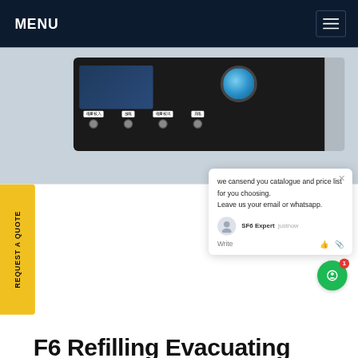MENU
[Figure (photo): SF6 gas refilling and evacuating device — black electronic unit with screen, blue rotary knob, ports and connectors, silver side panel]
we cansend you catalogue and price list for you choosing. Leave us your email or whatsapp.
SF6 Expert   justnow
Write
F6 Refilling Evacuating Devices
[Figure (photo): Red and black cable/probe rods for SF6 equipment, partially visible at bottom of page]